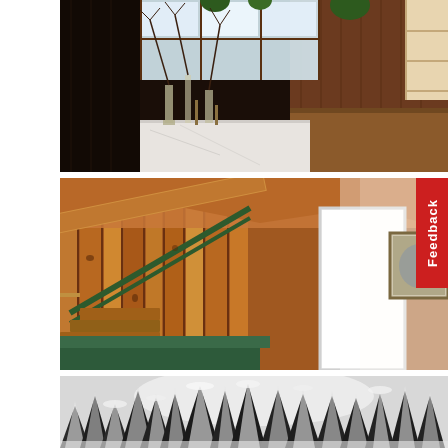[Figure (photo): Interior of a rustic wooden cabin room with dark wood paneling, a marble-top table with glass bottles and dried branch arrangements, windows letting in bright light, and wooden shelving on the right side.]
[Figure (photo): Interior of a wooden cabin showing a staircase with green railing, warm-toned vertical wood plank walls, a bright white door letting in light, a framed picture on the wall, and a green cushioned bench or couch in the foreground.]
[Figure (photo): Black and white photograph of snow-covered evergreen trees viewed from below, with bright sky visible through the branches.]